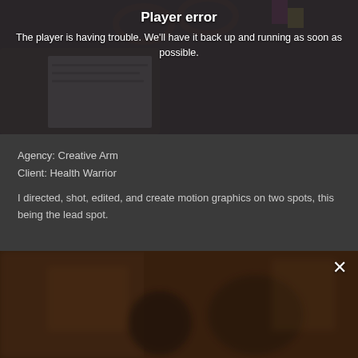Player error
The player is having trouble. We'll have it back up and running as soon as possible.
[Figure (screenshot): Blurred/darkened video thumbnail showing a notebook with text 'SUPER FILLING WITHOUT WEIGHING YOU DOWN.' and office supplies]
Agency: Creative Arm
Client: Health Warrior
I directed, shot, edited, and create motion graphics on two spots, this being the lead spot.
[Figure (screenshot): Blurred dark video thumbnail showing a warm-toned interior scene with blurred figures]